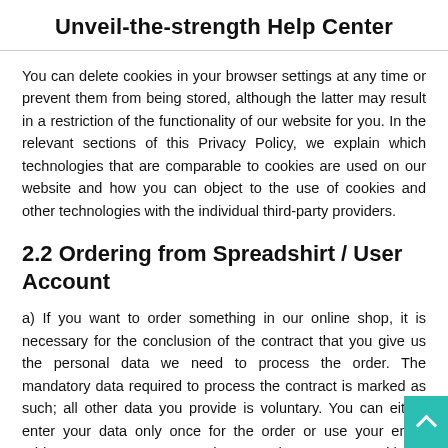Unveil-the-strength Help Center
You can delete cookies in your browser settings at any time or prevent them from being stored, although the latter may result in a restriction of the functionality of our website for you. In the relevant sections of this Privacy Policy, we explain which technologies that are comparable to cookies are used on our website and how you can object to the use of cookies and other technologies with the individual third-party providers.
2.2 Ordering from Spreadshirt / User Account
a) If you want to order something in our online shop, it is necessary for the conclusion of the contract that you give us the personal data we need to process the order. The mandatory data required to process the contract is marked as such; all other data you provide is voluntary. You can either enter your data only once for the order or use your email address to set up a password-protected user account with us, in which your data